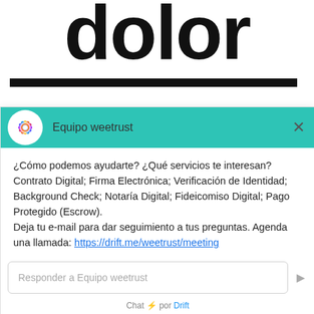[Figure (screenshot): Large partial text 'dolor' in bold black font with horizontal underline bar, and partial 'eit' text below, forming website background behind chat widget]
[Figure (screenshot): Chat widget overlay from Drift with teal header bar, mandala logo, agent name 'Equipo weetrust', close button, message text in Spanish about services, reply input box, and 'Chat por Drift' footer]
¿Cómo podemos ayudarte? ¿Qué servicios te interesan? Contrato Digital; Firma Electrónica; Verificación de Identidad; Background Check; Notaría Digital; Fideicomiso Digital; Pago Protegido (Escrow). Deja tu e-mail para dar seguimiento a tus preguntas. Agenda una llamada: https://drift.me/weetrust/meeting
Responder a Equipo weetrust
Chat ⚡ por Drift